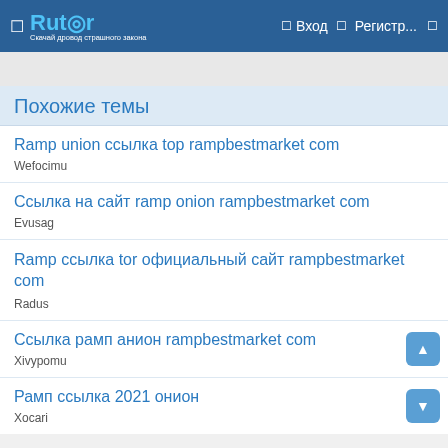Rutor — Вход Регистр...
Похожие темы
Ramp union ссылка top rampbestmarket com
Wefocimu
Ссылка на сайт ramp onion rampbestmarket com
Evusag
Ramp ссылка tor официальный сайт rampbestmarket com
Radus
Ссылка рамп анион rampbestmarket com
Xivypomu
Рамп ссылка 2021 онион
Xocari